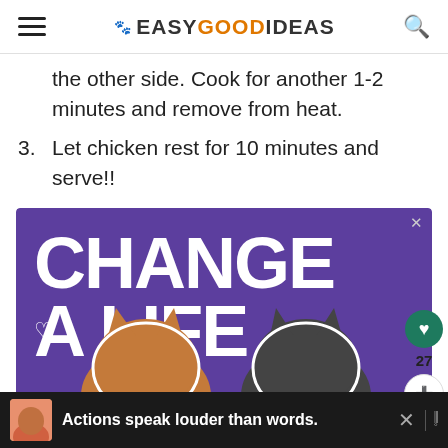EASYGOODIDEAS
the other side. Cook for another 1-2 minutes and remove from heat.
3. Let chicken rest for 10 minutes and serve!!
[Figure (other): Advertisement banner showing 'CHANGE A LIFE' text with two cats on a purple background]
Actions speak louder than words.